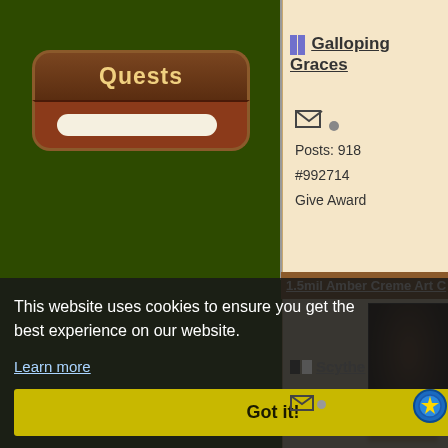[Figure (screenshot): Dark green left panel with Quests button containing tan/brown rounded rectangle with 'Quests' title and empty progress bar]
Galloping Graces
Posts: 918
#992714
Give Award
1.5mil Amber Creme Art C
This website uses cookies to ensure you get the best experience on our website.
Learn more
Got it!
Scythe